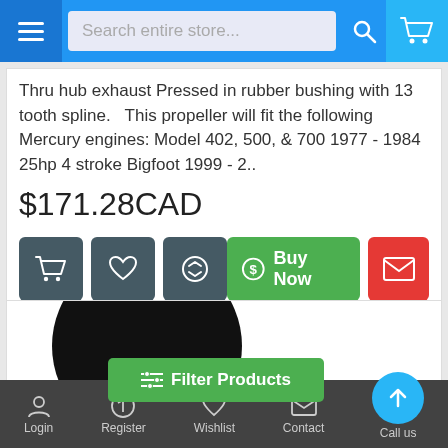Search entire store...
Thru hub exhaust Pressed in rubber bushing with 13 tooth spline.   This propeller will fit the following Mercury engines: Model 402, 500, & 700 1977 - 1984 25hp 4 stroke Bigfoot 1999 - 2..
$171.28CAD
[Figure (screenshot): Action buttons row: cart icon button, heart/wishlist icon button, compare icon button (dark grey), Buy Now green button with dollar-circle icon, envelope/mail red button]
[Figure (photo): Partially visible product image showing a dark circular shape (blurred/cropped propeller) on white background]
Filter Products
Login   Register   Wishlist   Contact   Call us